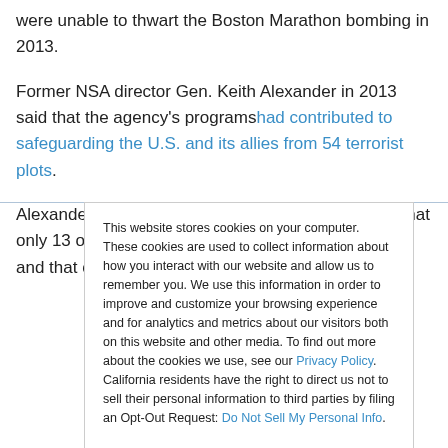were unable to thwart the Boston Marathon bombing in 2013.
Former NSA director Gen. Keith Alexander in 2013 said that the agency's programs had contributed to safeguarding the U.S. and its allies from 54 terrorist plots.
Alexander later testified in a congressional hearing that only 13 of the 54 cases were connected to the U.S., and that only one
This website stores cookies on your computer. These cookies are used to collect information about how you interact with our website and allow us to remember you. We use this information in order to improve and customize your browsing experience and for analytics and metrics about our visitors both on this website and other media. To find out more about the cookies we use, see our Privacy Policy. California residents have the right to direct us not to sell their personal information to third parties by filing an Opt-Out Request: Do Not Sell My Personal Info.
Accept